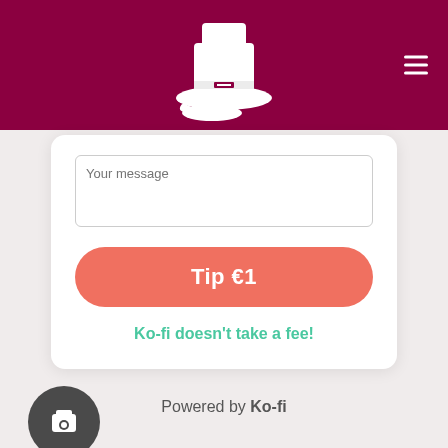[Figure (logo): Ko-fi white hat/boot logo on dark red/maroon header bar with hamburger menu icon on right]
[Figure (screenshot): White card with textarea input (Your message placeholder), salmon/coral Tip €1 rounded button, and green Ko-fi doesn't take a fee! text]
Ko-fi doesn't take a fee!
Powered by Ko-fi
[Figure (illustration): Dark circular avatar icon partially visible at bottom left with partial brand text to its right]